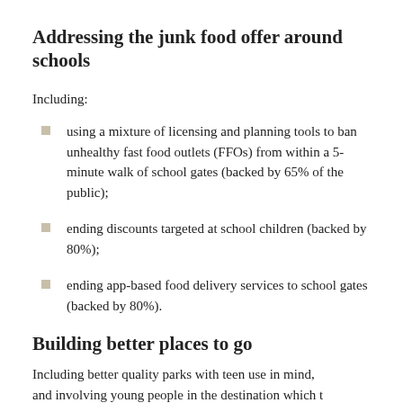Addressing the junk food offer around schools
Including:
using a mixture of licensing and planning tools to ban unhealthy fast food outlets (FFOs) from within a 5-minute walk of school gates (backed by 65% of the public);
ending discounts targeted at school children (backed by 80%);
ending app-based food delivery services to school gates (backed by 80%).
Building better places to go
Including better quality parks with teen use in mind, and involving young people in the destination of bit...